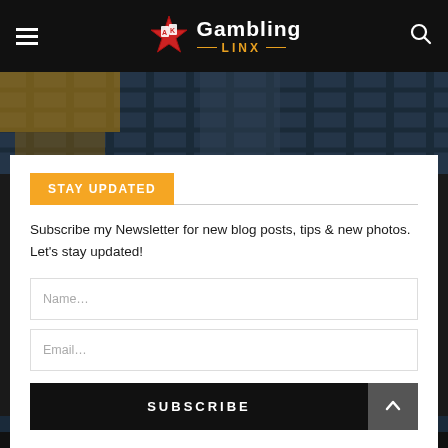Gambling LINX
[Figure (photo): Hero banner image showing a building facade with golden and grey tones]
STAY UPDATED
Subscribe my Newsletter for new blog posts, tips & new photos. Let's stay updated!
Name...
Email...
SUBSCRIBE